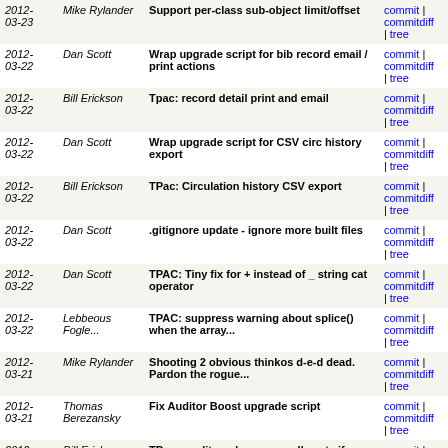| Date | Author | Message | Links |
| --- | --- | --- | --- |
| 2012-03-23 | Mike Rylander | Support per-class sub-object limit/offset | commit | commitdiff | tree |
| 2012-03-22 | Dan Scott | Wrap upgrade script for bib record email / print actions | commit | commitdiff | tree |
| 2012-03-22 | Bill Erickson | Tpac: record detail print and email | commit | commitdiff | tree |
| 2012-03-22 | Dan Scott | Wrap upgrade script for CSV circ history export | commit | commitdiff | tree |
| 2012-03-22 | Bill Erickson | TPac: Circulation history CSV export | commit | commitdiff | tree |
| 2012-03-22 | Dan Scott | .gitignore update - ignore more built files | commit | commitdiff | tree |
| 2012-03-22 | Dan Scott | TPAC: Tiny fix for + instead of _ string cat operator | commit | commitdiff | tree |
| 2012-03-22 | Lebbeous Fogle... | TPAC: suppress warning about splice() when the array... | commit | commitdiff | tree |
| 2012-03-21 | Mike Rylander | Shooting 2 obvious thinkos d-e-d dead. Pardon the rogue... | commit | commitdiff | tree |
| 2012-03-21 | Thomas Berezansky | Fix Auditor Boost upgrade script | commit | commitdiff | tree |
| 2012-03-21 | Bill Erickson | TPac; credit card assumes all xacts if none selected | commit | commitdiff | tree |
| 2012-03-21 | Bill Erickson | TPac; credit card payment "Processing..." page | commit | commitdiff | tree |
| 2012-03-21 | Bill Erickson | TPac; support context-genereted refresh content | commit | commitdiff | tree |